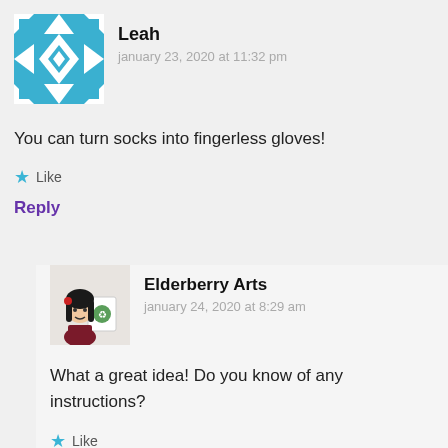[Figure (illustration): Blue and white geometric quilt-pattern avatar for user Leah]
Leah
january 23, 2020 at 11:32 pm
You can turn socks into fingerless gloves!
Like
Reply
[Figure (illustration): Cartoon avatar of dark-haired woman holding a card for Elderberry Arts]
Elderberry Arts
january 24, 2020 at 8:29 am
What a great idea! Do you know of any instructions?
Like
Reply